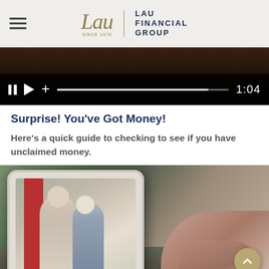Lau Financial Group
[Figure (screenshot): Video player with pause, play, and plus controls, progress bar, and timestamp 1:04]
Surprise! You've Got Money!
Here's a quick guide to checking to see if you have unclaimed money.
[Figure (photo): Person holding a tablet showing an older couple walking together, outdoor street background with greenery]